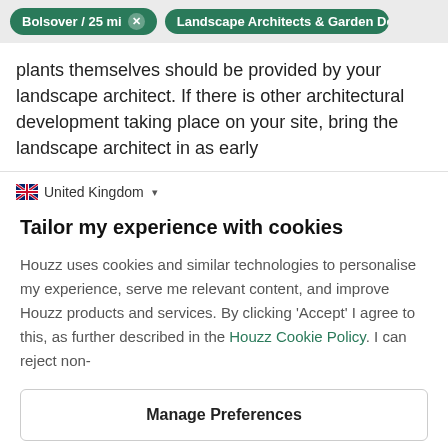Bolsover / 25 mi   Landscape Architects & Garden Designer
plants themselves should be provided by your landscape architect. If there is other architectural development taking place on your site, bring the landscape architect in as early
United Kingdom
Tailor my experience with cookies
Houzz uses cookies and similar technologies to personalise my experience, serve me relevant content, and improve Houzz products and services. By clicking 'Accept' I agree to this, as further described in the Houzz Cookie Policy. I can reject non-
Manage Preferences
Accept